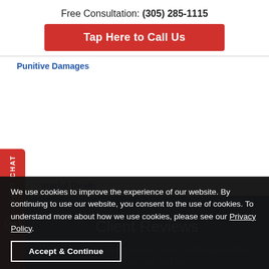Free Consultation: (305) 285-1115
Tap Here to Call Us
Punitive Damages
Wrongful Death
Client Reviews
I was rear-ended on my motorcycle by a distracted driver. broke my leg, lost two
We use cookies to improve the experience of our website. By continuing to use our website, you consent to the use of cookies. To understand more about how we use cookies, please see our Privacy Policy.
Accept & Continue